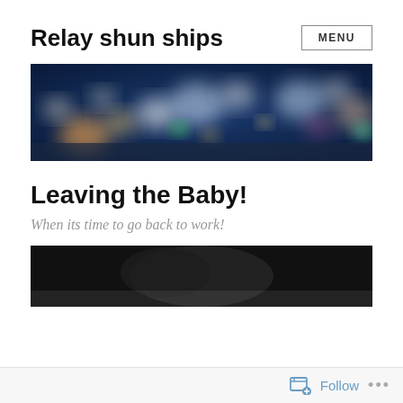Relay shun ships
[Figure (photo): Blurry bokeh night cityscape with colorful lights against a dark blue sky]
Leaving the Baby!
When its time to go back to work!
[Figure (photo): Dark photograph with partial view of a subject in black and white tones]
Follow  ...